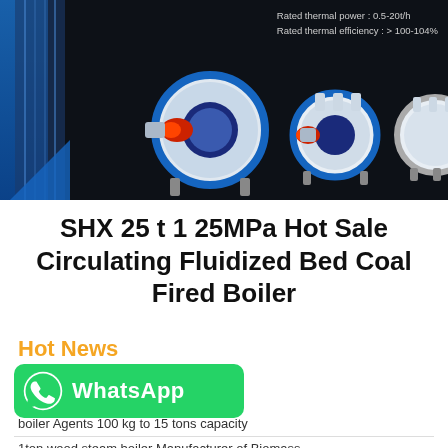[Figure (photo): Dark-background hero banner showing industrial boilers/steam generators with blue structural elements on the left. Text overlay shows rated thermal power 0.5-20t/h and rated thermal efficiency > 100-104%.]
SHX 25 t 1 25MPa Hot Sale Circulating Fluidized Bed Coal Fired Boiler
Hot News
[Figure (logo): WhatsApp button — green rounded rectangle with WhatsApp icon and text 'WhatsApp']
boiler Agents 100 kg to 15 tons capacity
1ton wood steam boiler Manufacturer of Biomass